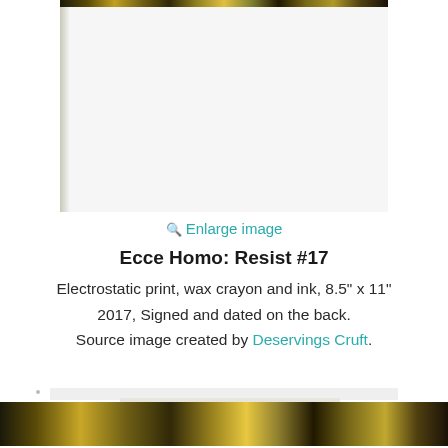[Figure (photo): Top portion of an artwork image showing a mostly white/light gray area, partially visible, with a decorative gold/dark strip at the very top edge. Left side shows a slight shadow edge.]
🔍 Enlarge image
Ecce Homo: Resist #17
Electrostatic print, wax crayon and ink, 8.5" x 11"
2017, Signed and dated on the back.
Source image created by Deservings Cruft.
[Figure (photo): Bottom portion of another artwork image showing a gold/bronze/dark decorative strip pattern, partially cut off at the bottom of the page.]